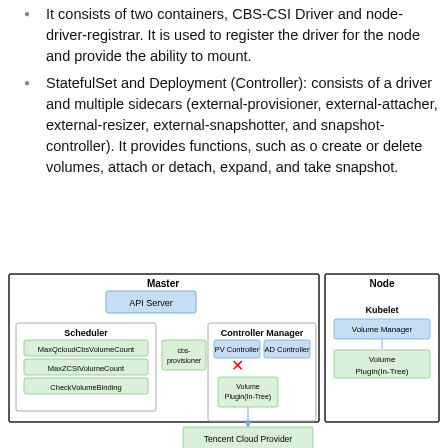It consists of two containers, CBS-CSI Driver and node-driver-registrar. It is used to register the driver for the node and provide the ability to mount.
StatefulSet and Deployment (Controller): consists of a driver and multiple sidecars (external-provisioner, external-attacher, external-resizer, external-snapshotter, and snapshot-controller). It provides functions, such as o create or delete volumes, attach or detach, expand, and take snapshot.
[Figure (engineering-diagram): Architecture diagram showing Master node and Node components. Master box contains: API Server, Scheduler (with MaxQcloudCbsVolumeCount, MaxZCSIVolumeCount, CheckVolumeBinding), Controller Manager (with PV Controller, AD Controller, Volume Plugin(In-Tree) with X mark), and cbs-provisioner. Node box contains: Kubelet (with Volume Manager and Volume Plugin(In-Tree)). Below Master box: Tencent Cloud Provider.]